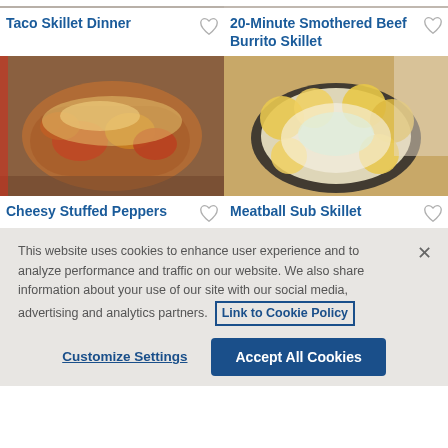[Figure (photo): Top sliver of Taco Skillet Dinner food photo]
[Figure (photo): Top sliver of 20-Minute Smothered Beef Burrito Skillet food photo]
Taco Skillet Dinner
20-Minute Smothered Beef Burrito Skillet
[Figure (photo): Cheesy Stuffed Peppers – a skillet with colorful stuffed peppers topped with melted cheese and ground beef]
[Figure (photo): Meatball Sub Skillet – a cast iron skillet with meatballs, melted cheese, tomato sauce, and toasted bread slices]
Cheesy Stuffed Peppers
Meatball Sub Skillet
This website uses cookies to enhance user experience and to analyze performance and traffic on our website. We also share information about your use of our site with our social media, advertising and analytics partners. Link to Cookie Policy
Customize Settings
Accept All Cookies